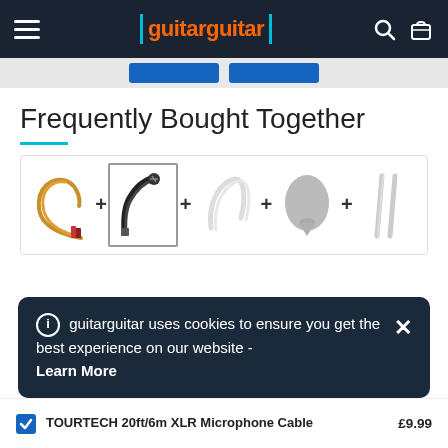guitarguitar
Frequently Bought Together
[Figure (screenshot): Frequently bought together product bundle showing 5 product thumbnails connected by plus icons: a gold/brown cable, a black XLR microphone cable (selected/highlighted), a white curved item, a grey pick/plectrum, and two grey cables.]
guitarguitar uses cookies to ensure you get the best experience on our website - Learn More
TOURTECH 20ft/6m XLR Microphone Cable  £9.99